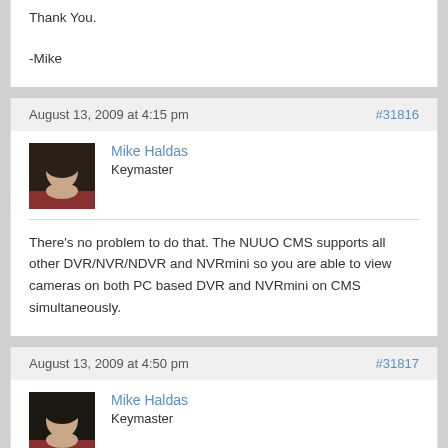Thank You.

-Mike
August 13, 2009 at 4:15 pm
#31816
[Figure (photo): Profile photo of Mike Haldas]
Mike Haldas
Keymaster
There's no problem to do that. The NUUO CMS supports all other DVR/NVR/NDVR and NVRmini so you are able to view cameras on both PC based DVR and NVRmini on CMS simultaneously.
August 13, 2009 at 4:50 pm
#31817
[Figure (photo): Profile photo of Mike Haldas]
Mike Haldas
Keymaster